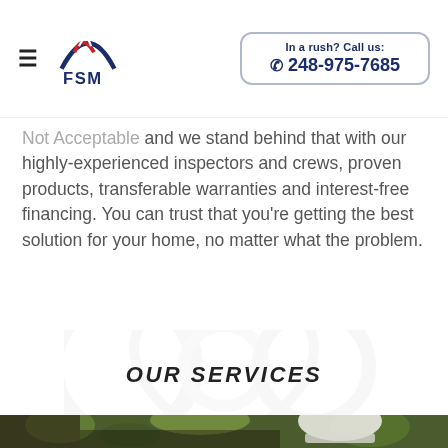FSM — In a rush? Call us: 248-975-7685
Not Acceptable and we stand behind that with our highly-experienced inspectors and crews, proven products, transferable warranties and interest-free financing. You can trust that you're getting the best solution for your home, no matter what the problem.
OUR SERVICES
[Figure (photo): Worker wearing a white hard hat, outdoors with blurred trees in background]